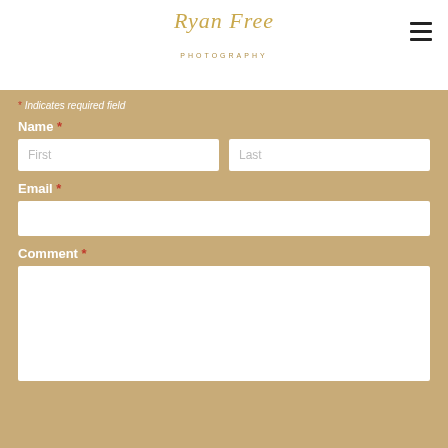Ryan Free Photography
* Indicates required field
Name *
First | Last
Email *
Comment *